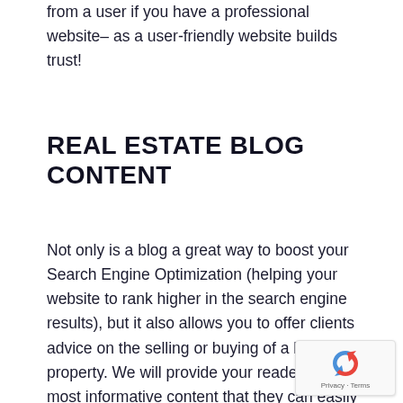from a user if you have a professional website– as a user-friendly website builds trust!
REAL ESTATE BLOG CONTENT
Not only is a blog a great way to boost your Search Engine Optimization (helping your website to rank higher in the search engine results), but it also allows you to offer clients advice on the selling or buying of a home or property. We will provide your readers with most informative content that they can easily share on a website and via social media platforms.